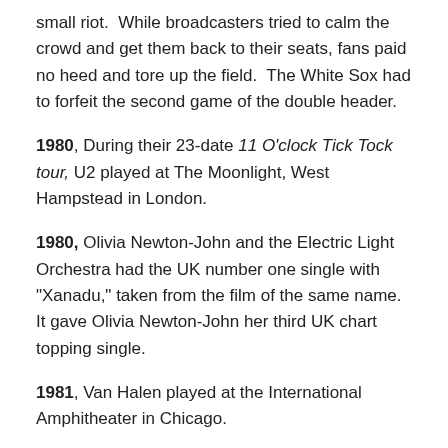small riot. While broadcasters tried to calm the crowd and get them back to their seats, fans paid no heed and tore up the field. The White Sox had to forfeit the second game of the double header.
1980, During their 23-date 11 O'clock Tick Tock tour, U2 played at The Moonlight, West Hampstead in London.
1980, Olivia Newton-John and the Electric Light Orchestra had the UK number one single with "Xanadu," taken from the film of the same name. It gave Olivia Newton-John her third UK chart topping single.
1981, Van Halen played at the International Amphitheater in Chicago.
1983, Former Traffic member Chris Wood died of